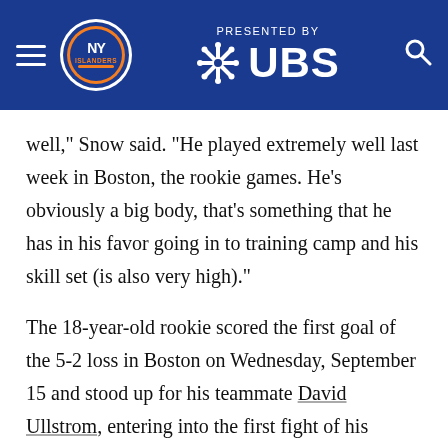[Figure (screenshot): NY Islanders website header with blue background, hamburger menu, NY Islanders logo, 'PRESENTED BY' text with UBS logo and snowflake icon, and search icon]
well," Snow said. "He played extremely well last week in Boston, the rookie games. He's obviously a big body, that's something that he has in his favor going in to training camp and his skill set (is also very high)."
The 18-year-old rookie scored the first goal of the 5-2 loss in Boston on Wednesday, September 15 and stood up for his teammate David Ullstrom, entering into the first fight of his hockey career. Even though the rookie dropped the gloves, he is extremely well mannered and has been quite calm under pressure these past few weeks through mini camp, rookie camp and now training